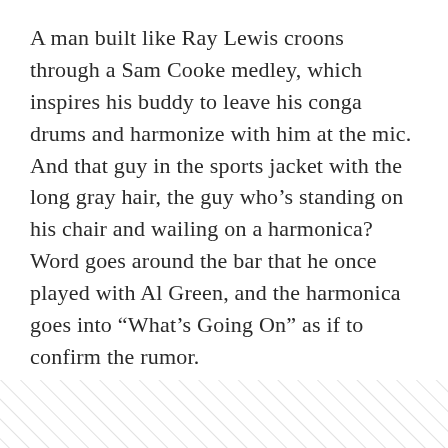A man built like Ray Lewis croons through a Sam Cooke medley, which inspires his buddy to leave his conga drums and harmonize with him at the mic. And that guy in the sports jacket with the long gray hair, the guy who’s standing on his chair and wailing on a harmonica? Word goes around the bar that he once played with Al Green, and the harmonica goes into “What’s Going On” as if to confirm the rumor.